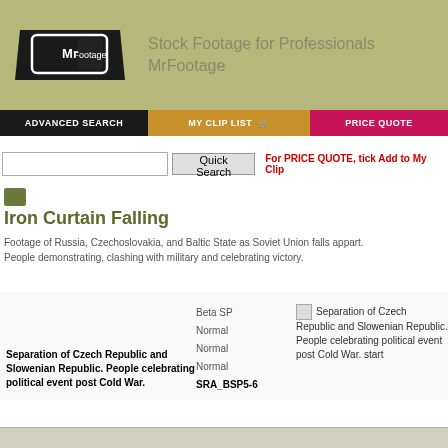[Figure (logo): MrFootage logo — black trapezoid shape with white rounded-rectangle screen showing 'Mr Footage' text]
Stock Footage for Professionals
MrFootage
ADVANCED SEARCH | MY CLIP LIST | PRICE QUOTE
Quick Search | For PRICE QUOTE, tick Add to My Clip
Iron Curtain Falling
Footage of Russia, Czechoslovakia, and Baltic State as Soviet Union falls appart.
People demonstrating, clashing with military and celebrating victory.
| CLIP DESCRIPTION | TAPE | START |
| --- | --- | --- |
| Separation of Czech Republic and Slowenian Republic. People celebrating political event post Cold War. | Beta SP
Normal
Normal
Normal
SRA_BSP5-6 | Separation of Czech Republic and Slowenian Republic. People celebrating political event post Cold War. start |